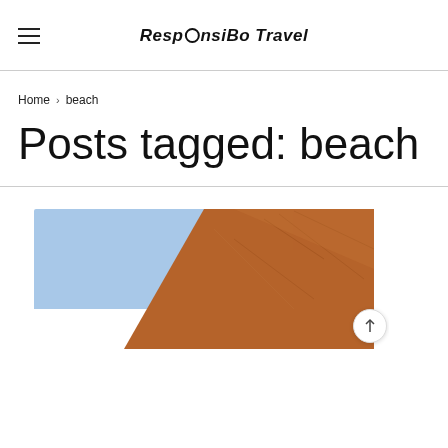RespOnsiBo Travel
Home > beach
Posts tagged: beach
[Figure (photo): Photo of a red/brown sandy hill or dune against a pale blue sky, partially visible, cropped at the bottom of the page.]